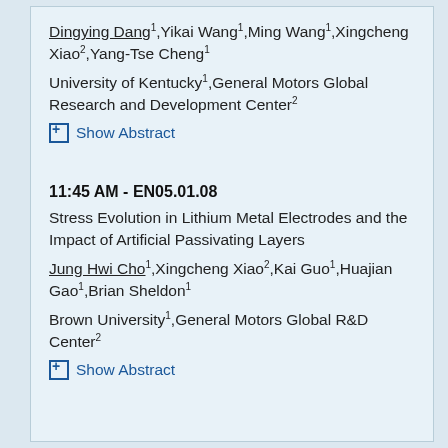Dingying Dang¹,Yikai Wang¹,Ming Wang¹,Xingcheng Xiao²,Yang-Tse Cheng¹
University of Kentucky¹,General Motors Global Research and Development Center²
⊞ Show Abstract
11:45 AM - EN05.01.08
Stress Evolution in Lithium Metal Electrodes and the Impact of Artificial Passivating Layers
Jung Hwi Cho¹,Xingcheng Xiao²,Kai Guo¹,Huajian Gao¹,Brian Sheldon¹
Brown University¹,General Motors Global R&D Center²
⊞ Show Abstract